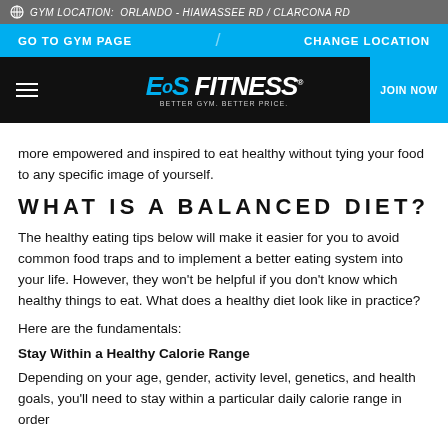GYM LOCATION: ORLANDO - HIAWASSEE RD / CLARCONA RD
GO TO GYM PAGE | CHANGE LOCATION
EoS FITNESS - BETTER GYM. BETTER PRICE. | JOIN NOW
more empowered and inspired to eat healthy without tying your food to any specific image of yourself.
WHAT IS A BALANCED DIET?
The healthy eating tips below will make it easier for you to avoid common food traps and to implement a better eating system into your life. However, they won't be helpful if you don't know which healthy things to eat. What does a healthy diet look like in practice?
Here are the fundamentals:
Stay Within a Healthy Calorie Range
Depending on your age, gender, activity level, genetics, and health goals, you'll need to stay within a particular daily calorie range in order